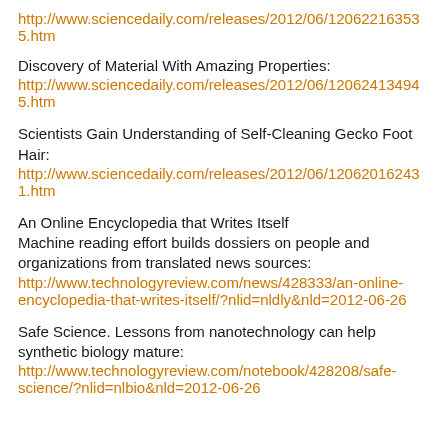http://www.sciencedaily.com/releases/2012/06/120622163535.htm
Discovery of Material With Amazing Properties: http://www.sciencedaily.com/releases/2012/06/120624134945.htm
Scientists Gain Understanding of Self-Cleaning Gecko Foot Hair: http://www.sciencedaily.com/releases/2012/06/120620162431.htm
An Online Encyclopedia that Writes Itself Machine reading effort builds dossiers on people and organizations from translated news sources: http://www.technologyreview.com/news/428333/an-online-encyclopedia-that-writes-itself/?nlid=nldly&nld=2012-06-26
Safe Science. Lessons from nanotechnology can help synthetic biology mature: http://www.technologyreview.com/notebook/428208/safe-science/?nlid=nlbio&nld=2012-06-26